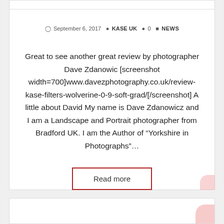September 6, 2017  KASE UK  0  NEWS
Great to see another great review by photographer Dave Zdanowic [screenshot width=700]www.davezphotography.co.uk/review-kase-filters-wolverine-0-9-soft-grad/[/screenshot] A little about David My name is Dave Zdanowicz and I am a Landscape and Portrait photographer from Bradford UK. I am the Author of “Yorkshire in Photographs”…
Read more